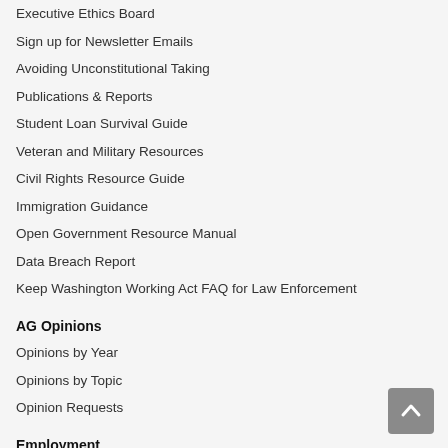Executive Ethics Board
Sign up for Newsletter Emails
Avoiding Unconstitutional Taking
Publications & Reports
Student Loan Survival Guide
Veteran and Military Resources
Civil Rights Resource Guide
Immigration Guidance
Open Government Resource Manual
Data Breach Report
Keep Washington Working Act FAQ for Law Enforcement
AG Opinions
Opinions by Year
Opinions by Topic
Opinion Requests
Employment
Experience Excellence
Employee Testimonials